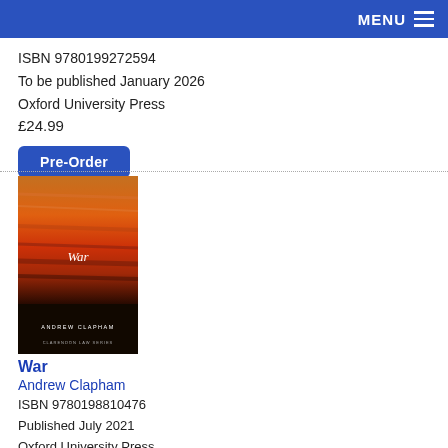MENU
ISBN 9780199272594
To be published January 2026
Oxford University Press
£24.99
Pre-Order
[Figure (illustration): Book cover of 'War' by Andrew Clapham, Clarendon Law Series. Orange and red gradient sky background with the word 'War' in white serif font and author name 'ANDREW CLAPHAM' and series label 'CLARENDON LAW SERIES' in white on dark bottom section.]
War
Andrew Clapham
ISBN 9780198810476
Published July 2021
Oxford University Press
£30.99